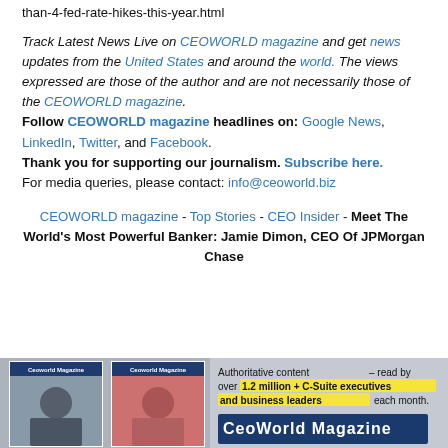than-4-fed-rate-hikes-this-year.html
Track Latest News Live on CEOWORLD magazine and get news updates from the United States and around the world. The views expressed are those of the author and are not necessarily those of the CEOWORLD magazine. Follow CEOWORLD magazine headlines on: Google News, LinkedIn, Twitter, and Facebook. Thank you for supporting our journalism. Subscribe here. For media queries, please contact: info@ceoworld.biz
CEOWORLD magazine - Top Stories - CEO Insider - Meet The World's Most Powerful Banker: Jamie Dimon, CEO Of JPMorgan Chase
[Figure (illustration): Advertisement banner for CEOWORLD magazine showing two magazine covers with photos of executives and text: Authoritative content – read by over 1.2 million + C-Suite executives and business leaders each month, with CEOWORLD Magazine logo]